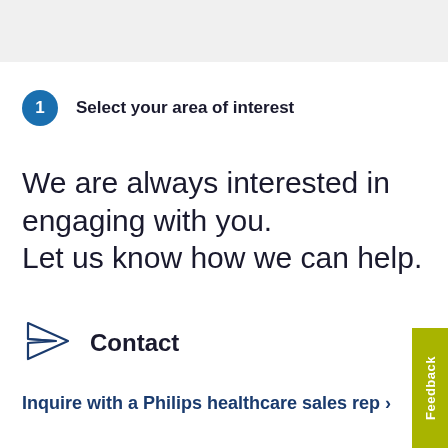1  Select your area of interest
We are always interested in engaging with you.
Let us know how we can help.
Contact
Inquire with a Philips healthcare sales rep ›